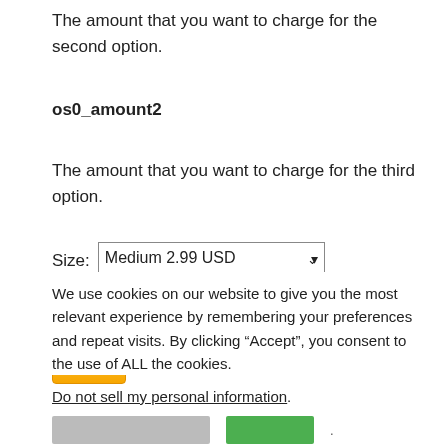The amount that you want to charge for the second option.
os0_amount2
The amount that you want to charge for the third option.
[Figure (screenshot): A dropdown selector showing 'Medium 2.99 USD' selected, with an open dropdown list showing 'Small 1.99 USD' and highlighted 'Medium 2.99 USD'. A PayPal Buy button is partially visible below.]
We use cookies on our website to give you the most relevant experience by remembering your preferences and repeat visits. By clicking “Accept”, you consent to the use of ALL the cookies.
Do not sell my personal information.